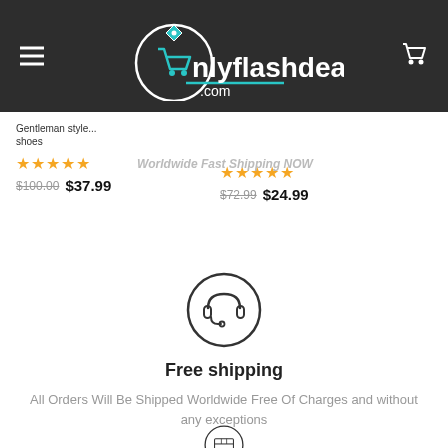[Figure (logo): OnlyFlashDeals.com logo in teal and white on dark background header with hamburger menu and cart icon]
Gentleman Style... shoes — $100.00 $37.99 (5 stars)
Worldwide Fast Shipping NOW — $72.99 $24.99 (5 stars)
[Figure (illustration): Headset/customer support icon inside a circle]
Free shipping
All Orders Will Be Shipped Worldwide Free Of Charges and without any exceptions
[Figure (illustration): Box/package icon inside a circle (partially visible at bottom)]